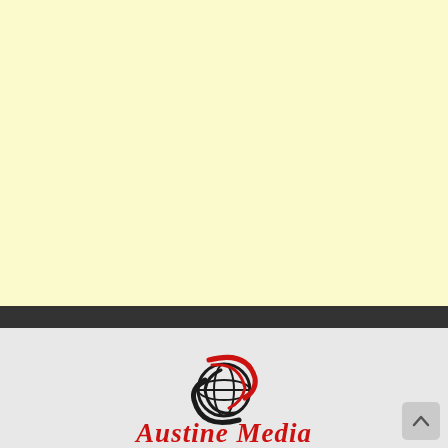[Figure (logo): Austine Media globe logo — a stylized globe with red and black swoosh curves around it]
Austine Media